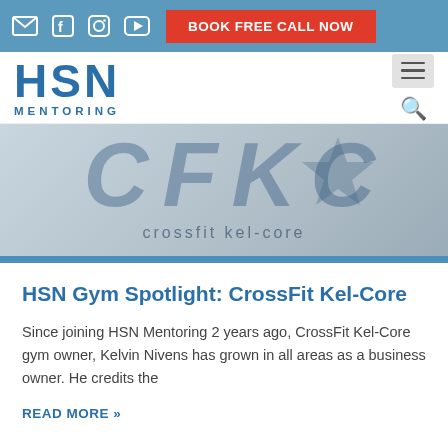BOOK FREE CALL NOW
[Figure (logo): HSN Mentoring logo with bold blue HSN text and MENTORING subtitle]
[Figure (photo): CrossFit Kel-Core gym banner image showing large letters CFKC with crossfit kel-core subtitle on grey/blue background]
HSN Gym Spotlight: CrossFit Kel-Core
Since joining HSN Mentoring 2 years ago, CrossFit Kel-Core gym owner, Kelvin Nivens has grown in all areas as a business owner. He credits the
READ MORE »